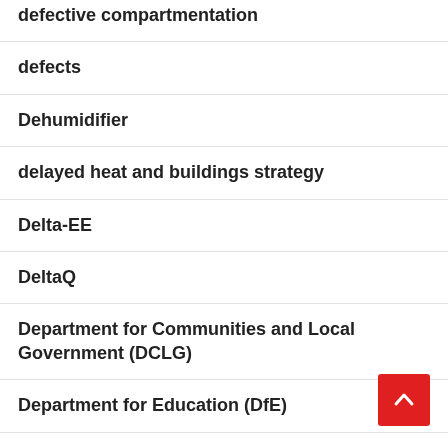defective compartmentation
defects
Dehumidifier
delayed heat and buildings strategy
Delta-EE
DeltaQ
Department for Communities and Local Government (DCLG)
Department for Education (DfE)